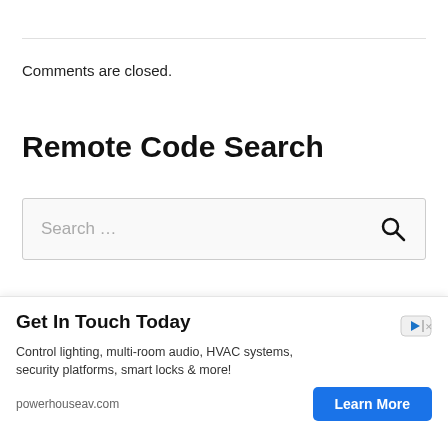Comments are closed.
Remote Code Search
Search …
3 Digit Universal Remote Codes For TV
CHUNGHOP Universal Remote Control
[Figure (screenshot): Advertisement overlay: Get In Touch Today — Control lighting, multi-room audio, HVAC systems, security platforms, smart locks & more! powerhouseav.com | Learn More button]